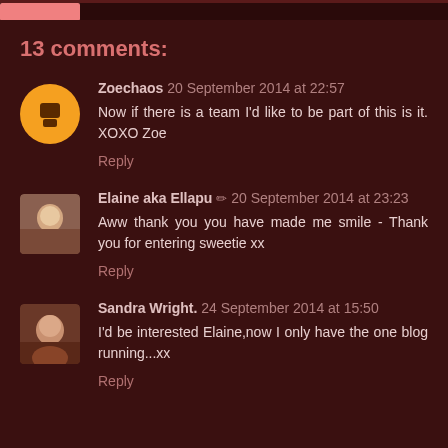13 comments:
Zoechaos 20 September 2014 at 22:57
Now if there is a team I'd like to be part of this is it. XOXO Zoe
Reply
Elaine aka Ellapu ✏ 20 September 2014 at 23:23
Aww thank you you have made me smile - Thank you for entering sweetie xx
Reply
Sandra Wright. 24 September 2014 at 15:50
I'd be interested Elaine,now I only have the one blog running...xx
Reply